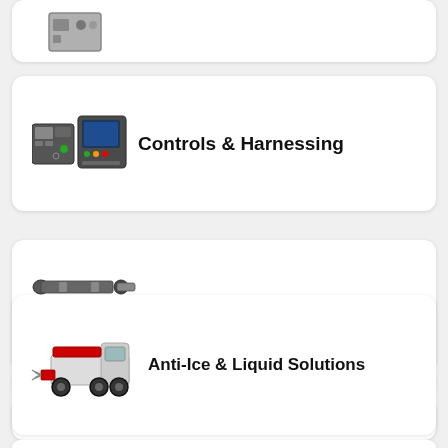[Figure (illustration): Partial card at top showing a gray electrical box/enclosure product image]
[Figure (illustration): Controls and Harnessing category card with image of control panels and wiring harness devices]
Controls & Harnessing
[Figure (illustration): Drivelines category card with image of two driveshafts]
Drivelines
[Figure (illustration): Anti-Ice & Liquid Solutions category card with image of truck with spray equipment]
Anti-Ice & Liquid Solutions
[Figure (illustration): Partial card at bottom, category not visible]